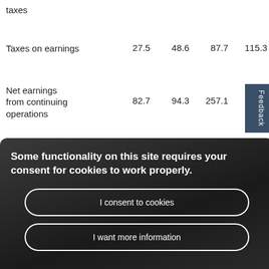taxes
| Taxes on earnings | 27.5 | 48.6 | 87.7 | 115.3 |
| Net earnings from continuing operations | 82.7 | 94.3 | 257.1 | 325.3 |
[Figure (screenshot): Cookie consent overlay with message 'Some functionality on this site requires your consent for cookies to work properly.' and two buttons: 'I consent to cookies' and 'I want more information'. A 'Feedback' tab is visible on the right side.]